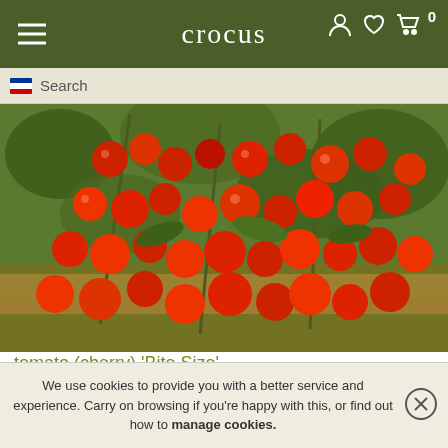crocus
Search
[Figure (photo): Tomato plant with clusters of ripe red cherry tomatoes growing on the vine, with green leaves visible in the background.]
tomato (cherry) 'Bite Size'
£2.99
approx 10 seeds
in stock
(shipped within 1-2 working days)
We use cookies to provide you with a better service and experience. Carry on browsing if you're happy with this, or find out how to manage cookies.